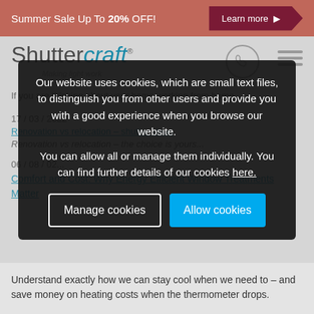Summer Sale Up To 20% OFF! Learn more
[Figure (logo): Shuttercraft logo with tagline 'Making light work']
If you are thinking about home working from home...
17 / 03 / 2022
Renovation vs relocation – shutter ideas
Renovation vs relocation – the choice is yours...
06 / 08 / 02...
Comfort and Cost: Why Energy Efficient Window Treatments Matter
Our website uses cookies, which are small text files, to distinguish you from other users and provide you with a good experience when you browse our website.
You can allow all or manage them individually. You can find further details of our cookies here.
Manage cookies | Allow cookies
Understand exactly how we can stay cool when we need to – and save money on heating costs when the thermometer drops.